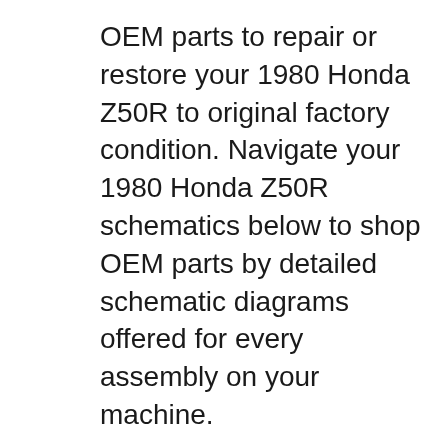OEM parts to repair or restore your 1980 Honda Z50R to original factory condition. Navigate your 1980 Honda Z50R schematics below to shop OEM parts by detailed schematic diagrams offered for every assembly on your machine.
Complete service manual and exploded parts manual for the Honda Z50.Cover 1980, 1981,and 1982 Download the FREE PREVIEW (under the green DOWNLOAD button), then download the complete manualвЂ¦ 3641 km; Has been stored for many years 1969 or 70 model not sure Comes with a brand new gpx125cc engine very high reving and powerful clutch engine purchased for